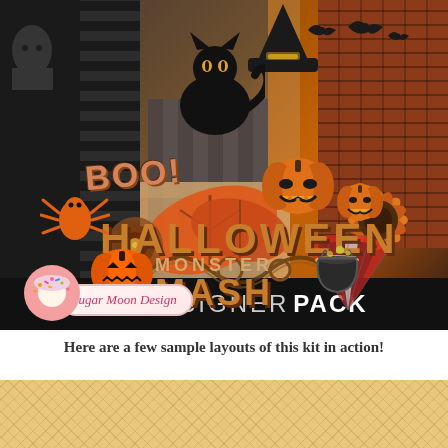[Figure (illustration): Halloween digital scrapbook kit collage showing orange and black themed elements including BOO! text, HALLOWEEN wordart, MONSTER MASH text, black cat silhouette, witch hat, bats, orange spider, pumpkins, fall leaves, flowers, cauldron, decorative roses, Sugar Moon Design logo badge with donut icon, and DESIGNER PACK label on black bar at bottom]
Here are a few sample layouts of this kit in action!
[Figure (photo): Partial view of a tan/beige textured background paper with diamond/argyle pattern, used as a sample layout preview]